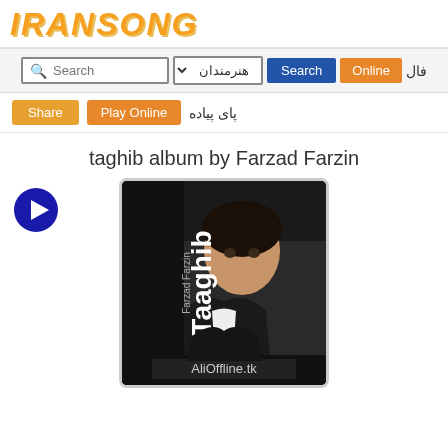IRANSONG
Search | هنرمندان | Search | Online | فال
پای پیاده | Play Online | Share
taghib album by Farzad Farzin
[Figure (illustration): Album cover for Taghib by Farzad Farzin showing a young man in a dark jacket. Text on cover reads 'Taaghib Farzad Farzin' and 'AliOffline.tk']